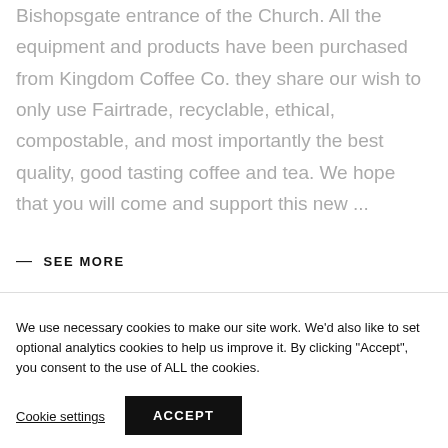Bishopsgate entrance of the Church. All the equipment and products have been purchased from Kingdom Coffee Co. they share our wish to only use Fairtrade, recyclable, ethical, compostable, and most importantly the best quality, good tasting coffee and tea. We hope that you will come and support this new ...
— SEE MORE
We use necessary cookies to make our site work. We'd also like to set optional analytics cookies to help us improve it. By clicking "Accept", you consent to the use of ALL the cookies.
Cookie settings
ACCEPT